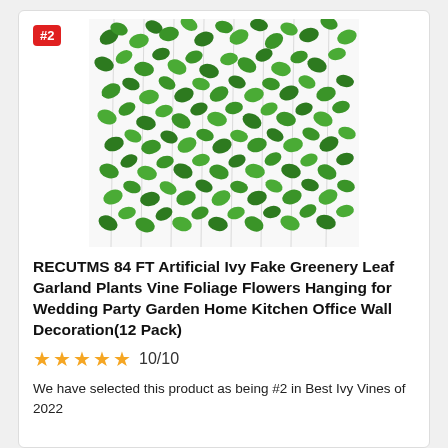[Figure (photo): Product photo of artificial ivy fake greenery leaf garland vines hanging in multiple strands, showing dense green leaves on white background]
RECUTMS 84 FT Artificial Ivy Fake Greenery Leaf Garland Plants Vine Foliage Flowers Hanging for Wedding Party Garden Home Kitchen Office Wall Decoration(12 Pack)
★★★★★  10/10
We have selected this product as being #2 in Best Ivy Vines of 2022